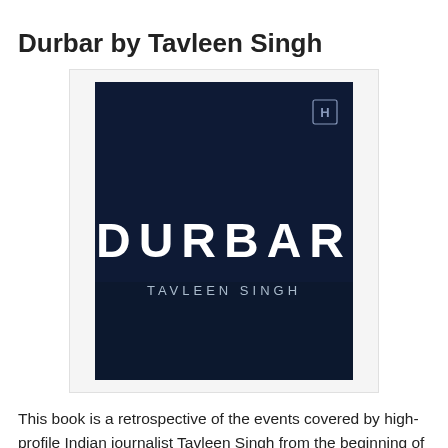Durbar by Tavleen Singh
[Figure (illustration): Book cover of 'Durbar' by Tavleen Singh. Dark navy blue background with the title 'DURBAR' in large white block capital letters and 'TAVLEEN SINGH' in smaller white capitals below. Publisher logo (HarperCollins) in top right corner.]
This book is a retrospective of the events covered by high-profile Indian journalist Tavleen Singh from the beginning of her career in 1975 till the assassination of Prime Minister Rajiv Gandhi in 1991. The events are presented not just with the benefit of future perspective, but also from the perspective of Tavleen Singh's personal likes and dislikes. This makes it more memoir than history book and while it